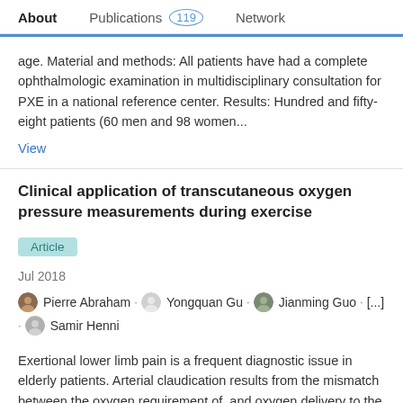About   Publications 119   Network
age. Material and methods: All patients have had a complete ophthalmologic examination in multidisciplinary consultation for PXE in a national reference center. Results: Hundred and fifty-eight patients (60 men and 98 women...
View
Clinical application of transcutaneous oxygen pressure measurements during exercise
Article
Jul 2018
Pierre Abraham · Yongquan Gu · Jianming Guo · [...] · Samir Henni
Exertional lower limb pain is a frequent diagnostic issue in elderly patients. Arterial claudication results from the mismatch between the oxygen requirement of, and oxygen delivery to the exercising muscles. Non-invasive vascular investigations (ultrasound imaging, plethysmography or segmental pressure) are used in routine at rest or following exe...